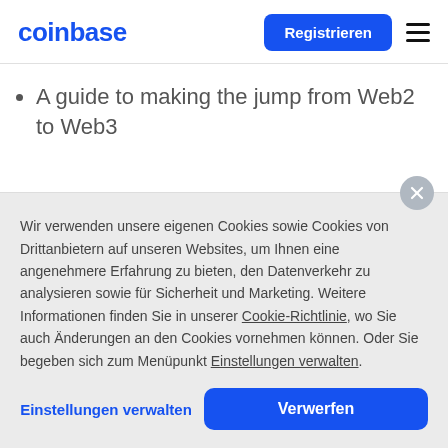coinbase
A guide to making the jump from Web2 to Web3
Wir verwenden unsere eigenen Cookies sowie Cookies von Drittanbietern auf unseren Websites, um Ihnen eine angenehmere Erfahrung zu bieten, den Datenverkehr zu analysieren sowie für Sicherheit und Marketing. Weitere Informationen finden Sie in unserer Cookie-Richtlinie, wo Sie auch Änderungen an den Cookies vornehmen können. Oder Sie begeben sich zum Menüpunkt Einstellungen verwalten.
Einstellungen verwalten | Verwerfen